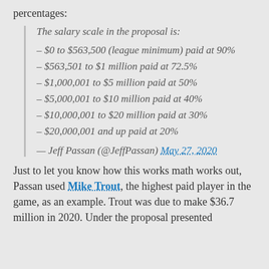percentages:
The salary scale in the proposal is:
– $0 to $563,500 (league minimum) paid at 90%
– $563,501 to $1 million paid at 72.5%
– $1,000,001 to $5 million paid at 50%
– $5,000,001 to $10 million paid at 40%
– $10,000,001 to $20 million paid at 30%
– $20,000,001 and up paid at 20%
— Jeff Passan (@JeffPassan) May 27, 2020
Just to let you know how this works math works out, Passan used Mike Trout, the highest paid player in the game, as an example. Trout was due to make $36.7 million in 2020. Under the proposal presented